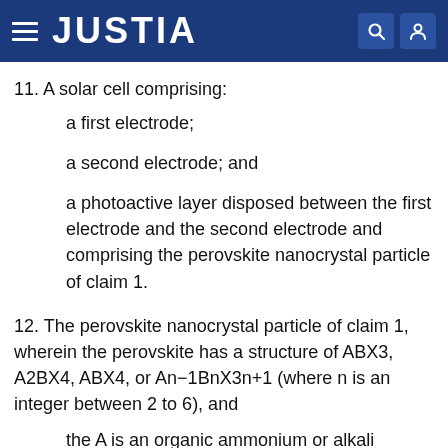JUSTIA
11. A solar cell comprising:
a first electrode;
a second electrode; and
a photoactive layer disposed between the first electrode and the second electrode and comprising the perovskite nanocrystal particle of claim 1.
12. The perovskite nanocrystal particle of claim 1, wherein the perovskite has a structure of ABX3, A2BX4, ABX4, or An−1BnX3n+1 (where n is an integer between 2 to 6), and
the A is an organic ammonium or alkali material, the B is a metal material, the X is a halogen